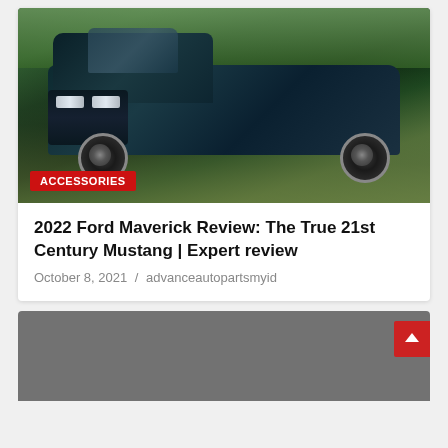[Figure (photo): Dark teal/navy 2022 Ford Maverick pickup truck parked on grass with trees in background. Red 'ACCESSORIES' badge in lower left corner of image.]
2022 Ford Maverick Review: The True 21st Century Mustang | Expert review
October 8, 2021 / advanceautopartsmyid
[Figure (photo): Second article card with grey placeholder image and red back-to-top arrow button in upper right corner.]